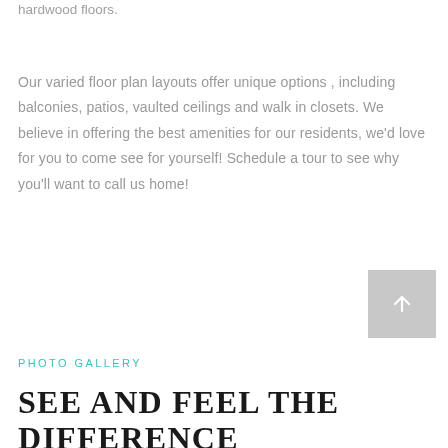hardwood floors.
Our varied floor plan layouts offer unique options , including balconies, patios, vaulted ceilings and walk in closets. We believe in offering the best amenities for our residents, we'd love for you to come see for yourself! Schedule a tour to see why you'll want to call us home!
[Figure (other): Gray square scroll-to-top button with white upward arrow]
PHOTO GALLERY
SEE AND FEEL THE DIFFERENCE